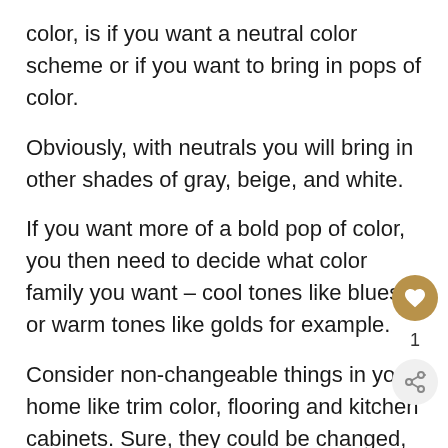color, is if you want a neutral color scheme or if you want to bring in pops of color.
Obviously, with neutrals you will bring in other shades of gray, beige, and white.
If you want more of a bold pop of color, you then need to decide what color family you want – cool tones like blues, or warm tones like golds for example.
Consider non-changeable things in your home like trim color, flooring and kitchen cabinets. Sure, they could be changed, but if you don't plan to change them, select colors